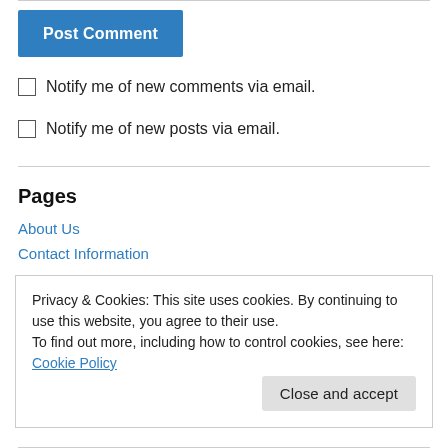[Figure (other): Post Comment button — blue rectangle with white bold text 'Post Comment']
Notify me of new comments via email.
Notify me of new posts via email.
Pages
About Us
Contact Information
Privacy & Cookies: This site uses cookies. By continuing to use this website, you agree to their use.
To find out more, including how to control cookies, see here: Cookie Policy
Close and accept